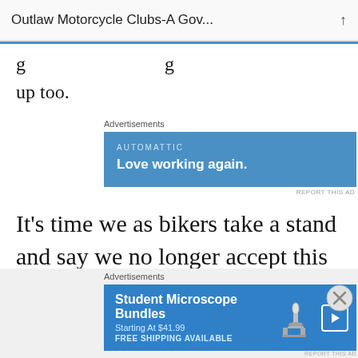Outlaw Motorcycle Clubs-A Gov...
g up too.
[Figure (screenshot): Automattic advertisement banner: 'Love working again.']
It’s time we as bikers take a stand and say we no longer accept this kind of behavior from police officials. Bikers Lives Matter dammit. Time to tell these cops that hard working men and even some cases women
[Figure (screenshot): Student Microscope Bundles advertisement: Starting At $41.99, FREE SHIPPING AVAILABLE]